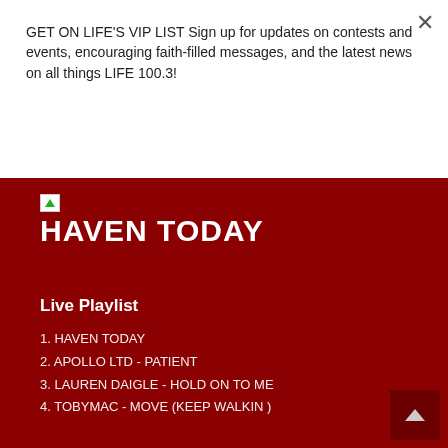GET ON LIFE'S VIP LIST Sign up for updates on contests and events, encouraging faith-filled messages, and the latest news on all things LIFE 100.3!
Subscribe
HAVEN TODAY
Live Playlist
1. HAVEN TODAY
2. APOLLO LTD - PATIENT
3. LAUREN DAIGLE - HOLD ON TO ME
4. TOBYMAC - MOVE (KEEP WALKIN )